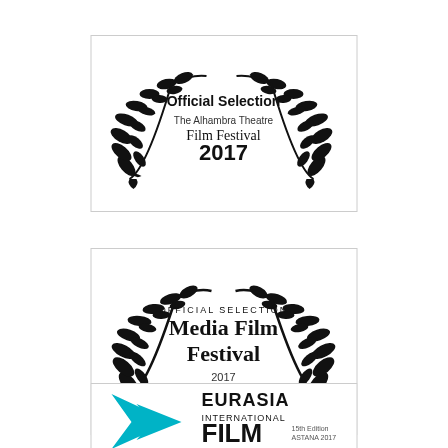[Figure (illustration): Official Selection laurel badge for The Alhambra Theatre Film Festival 2017]
[Figure (illustration): Official Selection laurel badge for Media Film Festival 2017]
[Figure (logo): Eurasia International Film Festival badge, partially visible at bottom]